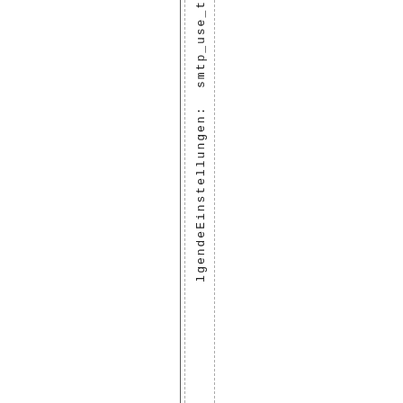lgendeEinstellungen: smtp_use_t